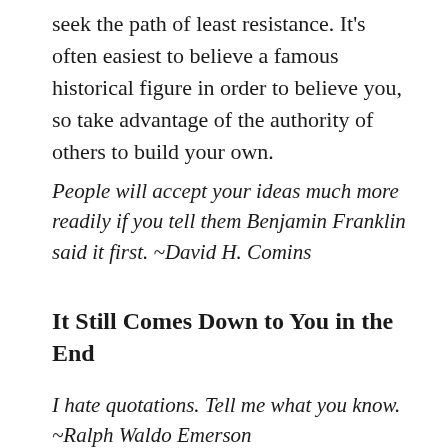seek the path of least resistance. It's often easiest to believe a famous historical figure in order to believe you, so take advantage of the authority of others to build your own.
People will accept your ideas much more readily if you tell them Benjamin Franklin said it first. ~David H. Comins
It Still Comes Down to You in the End
I hate quotations. Tell me what you know. ~Ralph Waldo Emerson